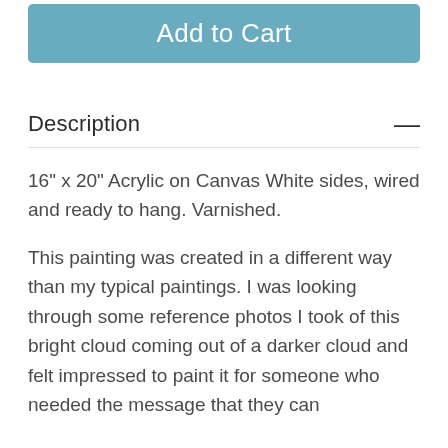[Figure (other): Add to Cart button — a teal/blue-grey rounded rectangle button with white text]
Description
16" x 20" Acrylic on Canvas White sides, wired and ready to hang. Varnished.
This painting was created in a different way than my typical paintings. I was looking through some reference photos I took of this bright cloud coming out of a darker cloud and felt impressed to paint it for someone who needed the message that they can